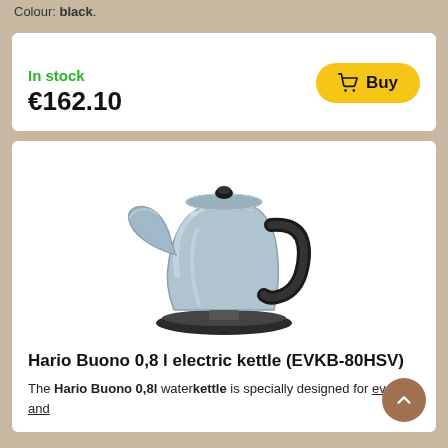Colour: black.
In stock
€162.10
[Figure (illustration): Yellow 'Buy' button with shopping cart icon]
[Figure (photo): Hario Buono 0.8l electric pour-over kettle in silver/stainless steel with black handle and lid knob, on a round black base]
Hario Buono 0,8 l electric kettle (EVKB-80HSV)
The Hario Buono 0,8l waterkettle is specially designed for even and